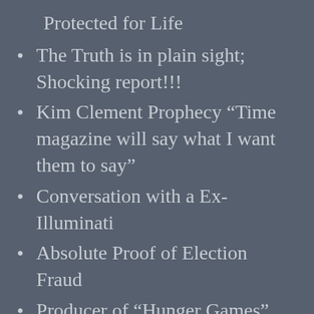Protected for Life
The Truth is in plain sight; Shocking report!!!
Kim Clement Prophecy “Time magazine will say what I want them to say”
Conversation with a Ex-Illuminati
Absolute Proof of Election Fraud
Producer of “Hunger Games” talks about Hollywood pedophiles
Military Continues Child Rescue Out of Underground Tunnels Across the Globe